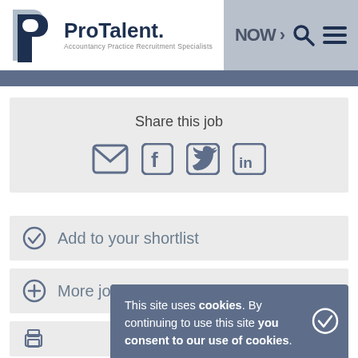[Figure (logo): ProTalent logo with text 'Accountancy Practice Recruitment Specialists' and navigation icons]
Share this job
[Figure (infographic): Social sharing icons: email/envelope, Facebook, Twitter, LinkedIn]
Add to your shortlist
More jobs like this
This site uses cookies. By continuing to use this site you consent to our use of cookies.